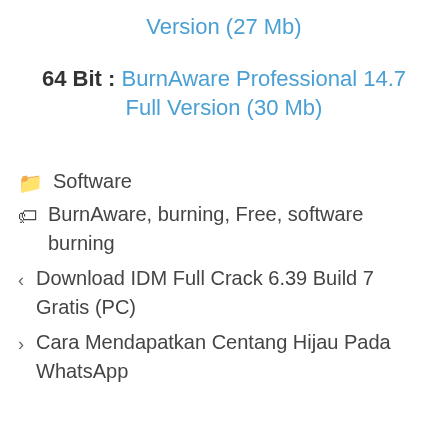Version (27 Mb)
64 Bit : BurnAware Professional 14.7 Full Version (30 Mb)
Software
BurnAware, burning, Free, software burning
Download IDM Full Crack 6.39 Build 7 Gratis (PC)
Cara Mendapatkan Centang Hijau Pada WhatsApp